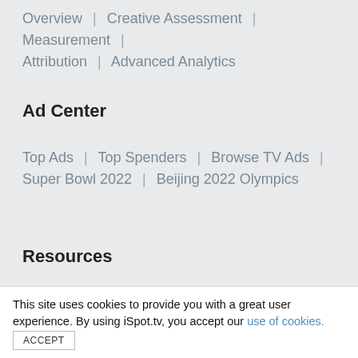Overview | Creative Assessment | Measurement | Attribution | Advanced Analytics
Ad Center
Top Ads | Top Spenders | Browse TV Ads | Super Bowl 2022 | Beijing 2022 Olympics
Resources
All | Reports | Case Studies | Blog | Events | Playbooks
This site uses cookies to provide you with a great user experience. By using iSpot.tv, you accept our use of cookies.
ACCEPT